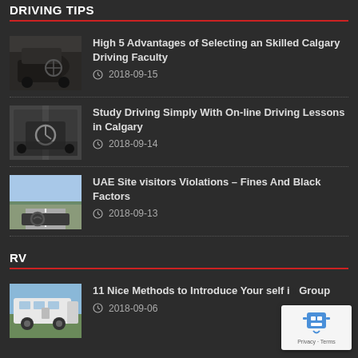DRIVING TIPS
High 5 Advantages of Selecting an Skilled Calgary Driving Faculty
2018-09-15
Study Driving Simply With On-line Driving Lessons in Calgary
2018-09-14
UAE Site visitors Violations – Fines And Black Factors
2018-09-13
RV
11 Nice Methods to Introduce Your self in Group
2018-09-06
[Figure (logo): reCAPTCHA badge with robot icon and Privacy/Terms links]